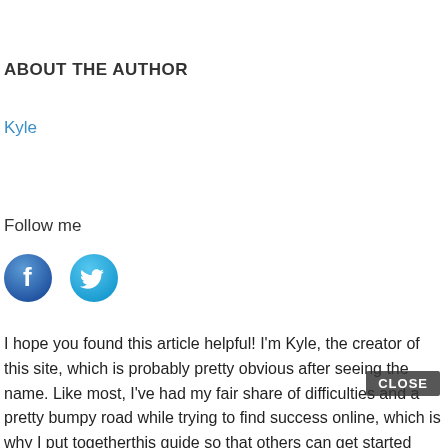ABOUT THE AUTHOR
Kyle
Follow me
[Figure (illustration): Facebook and Twitter social media icon buttons]
I hope you found this article helpful! I'm Kyle, the creator of this site, which is probably pretty obvious after seeing the name. Like most, I've had my fair share of difficulties and a pretty bumpy road while trying to find success online, which is why I put togetherthis guide so that others can get started right